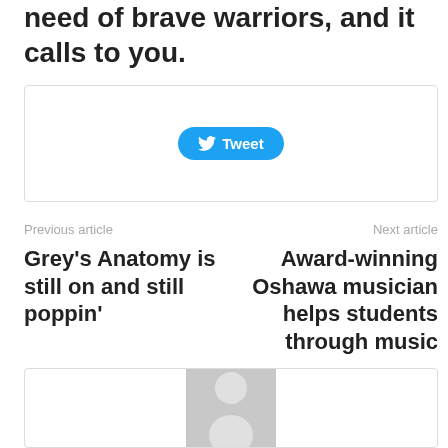need of brave warriors, and it calls to you.
[Figure (screenshot): Twitter Tweet button widget inside a bordered box]
Previous article
Next article
Grey's Anatomy is still on and still poppin'
Award-winning Oshawa musician helps students through music
[Figure (photo): Author avatar placeholder with grey background and silhouette figure icon]